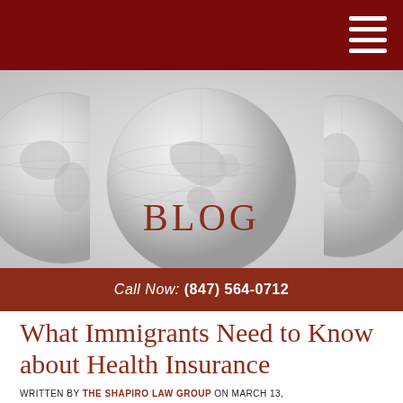[Figure (illustration): Blog banner with three silver/grey globe icons on a light grey gradient background, with the word BLOG in dark red serif text overlaid in the center]
Call Now: (847) 564-0712
What Immigrants Need to Know about Health Insurance
WRITTEN BY THE SHAPIRO LAW GROUP ON MARCH 13, 2014